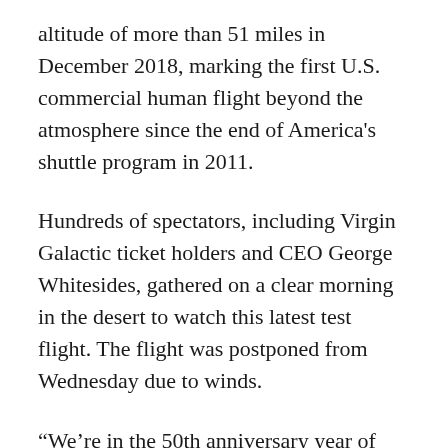altitude of more than 51 miles in December 2018, marking the first U.S. commercial human flight beyond the atmosphere since the end of America's shuttle program in 2011.
Hundreds of spectators, including Virgin Galactic ticket holders and CEO George Whitesides, gathered on a clear morning in the desert to watch this latest test flight. The flight was postponed from Wednesday due to winds.
“We’re in the 50th anniversary year of Apollo, and just like they had to do each step, we have to expand the envelope and do something more,” Whitesides told the crowd.